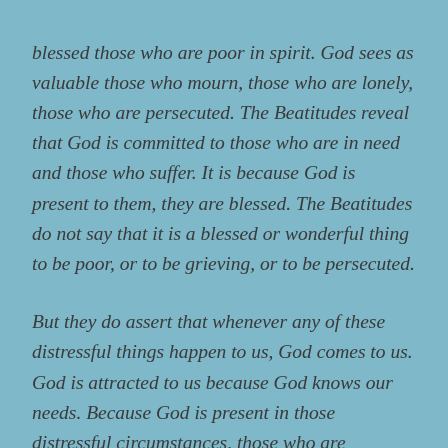blessed those who are poor in spirit. God sees as valuable those who mourn, those who are lonely, those who are persecuted. The Beatitudes reveal that God is committed to those who are in need and those who suffer. It is because God is present to them, they are blessed. The Beatitudes do not say that it is a blessed or wonderful thing to be poor, or to be grieving, or to be persecuted.
But they do assert that whenever any of these distressful things happen to us, God comes to us. God is attracted to us because God knows our needs. Because God is present in those distressful circumstances, those who are distressed are blessed. If God is with them, God will lead those who suffer to a better place: those who mourn will be comforted; those that are lowly